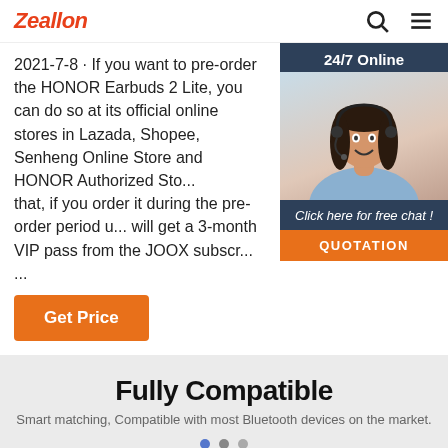Zeallon
2021-7-8 · If you want to pre-order the HONOR Earbuds 2 Lite, you can do so at its official online stores in Lazada, Shopee, Senheng Online Store and HONOR Authorized Sto... that, if you order it during the pre-order period u... will get a 3-month VIP pass from the JOOX subscr...
...
Get Price
[Figure (photo): Customer service representative with headset, smiling. '24/7 Online' header. 'Click here for free chat!' text and 'QUOTATION' orange button.]
Fully Compatible
Smart matching, Compatible with most Bluetooth devices on the market.
[Figure (photo): Tablet/device image partially visible at bottom of page.]